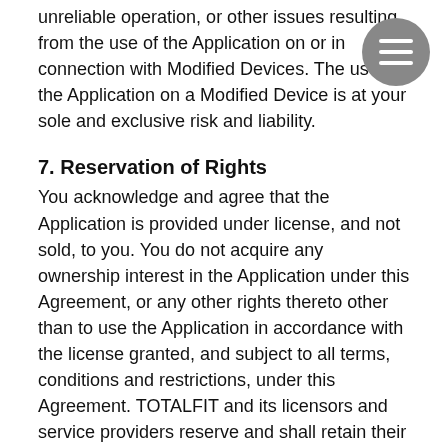unreliable operation, or other issues resulting from the use of the Application on or in connection with Modified Devices. The use of the Application on a Modified Device is at your sole and exclusive risk and liability.
7. Reservation of Rights
You acknowledge and agree that the Application is provided under license, and not sold, to you. You do not acquire any ownership interest in the Application under this Agreement, or any other rights thereto other than to use the Application in accordance with the license granted, and subject to all terms, conditions and restrictions, under this Agreement. TOTALFIT and its licensors and service providers reserve and shall retain their entire right, title and interest in and to the Application, including all copyrights, trademarks and other intellectual property rights therein or relating thereto, except as expressly granted to you in this